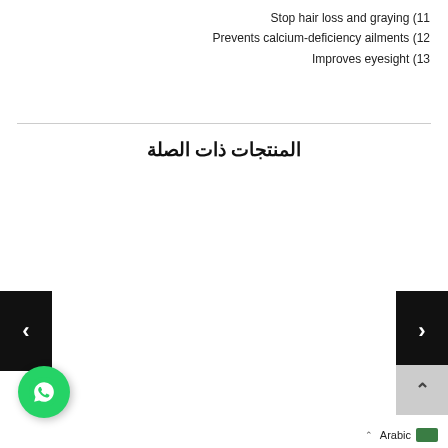Stop hair loss and graying (11
Prevents calcium-deficiency ailments (12
Improves eyesight (13
المنتجات ذات الصلة
[Figure (other): Left navigation arrow button (black background, white left arrow)]
[Figure (other): Right navigation arrow button (black background, white right arrow) and scroll-to-top button (gray background, upward caret)]
[Figure (other): WhatsApp floating action button (green circle with phone icon)]
Arabic